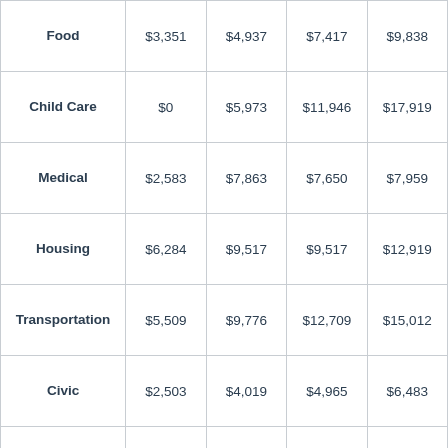| Category | 1 Adult | 1 Adult 1 Child | 1 Adult 2 Children | 2 Adults | ... |
| --- | --- | --- | --- | --- | --- |
| Food | $3,351 | $4,937 | $7,417 | $9,838 | $... |
| Child Care | $0 | $5,973 | $11,946 | $17,919 |  |
| Medical | $2,583 | $7,863 | $7,650 | $7,959 | $... |
| Housing | $6,284 | $9,517 | $9,517 | $12,919 | $... |
| Transportation | $5,509 | $9,776 | $12,709 | $15,012 | $... |
| Civic | $2,503 | $4,019 | $4,965 | $6,483 | $... |
| Other | $4,508 | $6,723 | $6,150 | $8,948 | $... |
| Required annual income after taxes | $24,861 | $48,931 | $60,478 | $79,202 | $... |
| Annual taxes | $6,099 | $12,004 | $14,837 | $19,431 | $... |
| Required |  |  |  |  |  |